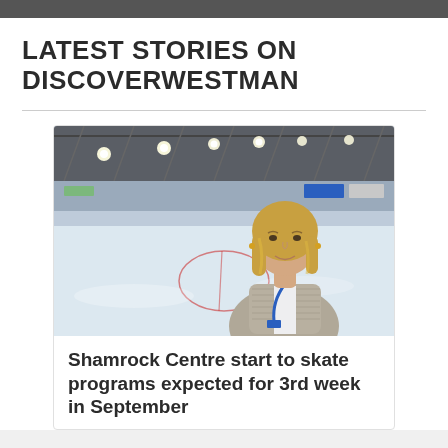LATEST STORIES ON DISCOVERWESTMAN
[Figure (photo): A woman with blonde hair wearing a grey knit sweater and blue lanyard, standing in front of an indoor ice rink with overhead lights and boards visible in the background.]
Shamrock Centre start to skate programs expected for 3rd week in September